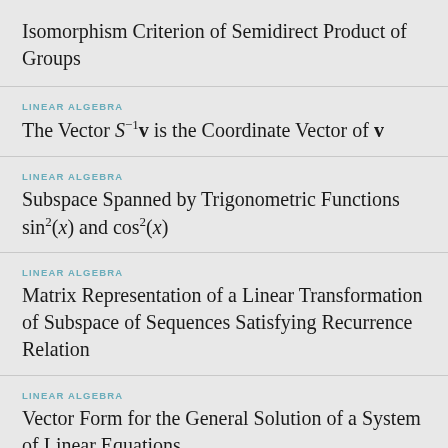Isomorphism Criterion of Semidirect Product of Groups
LINEAR ALGEBRA
The Vector S⁻¹v is the Coordinate Vector of v
LINEAR ALGEBRA
Subspace Spanned by Trigonometric Functions sin²(x) and cos²(x)
LINEAR ALGEBRA
Matrix Representation of a Linear Transformation of Subspace of Sequences Satisfying Recurrence Relation
LINEAR ALGEBRA
Vector Form for the General Solution of a System of Linear Equations